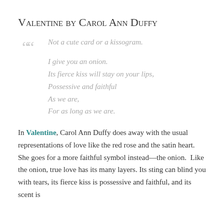Valentine by Carol Ann Duffy
Not a cute card or a kissogram.
I give you an onion.
Its fierce kiss will stay on your lips,
Possessive and faithful
As we are,
For as long as we are.
In Valentine, Carol Ann Duffy does away with the usual representations of love like the red rose and the satin heart. She goes for a more faithful symbol instead—the onion.  Like the onion, true love has its many layers. Its sting can blind you with tears, its fierce kiss is possessive and faithful, and its scent is